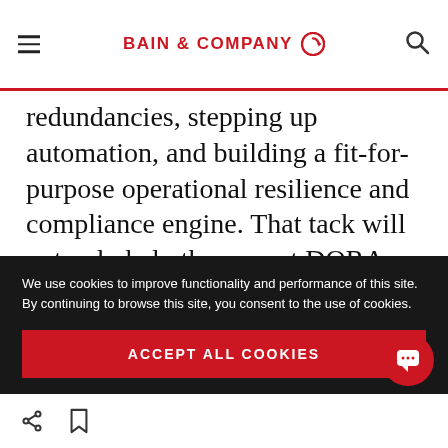BAIN & COMPANY
redundancies, stepping up automation, and building a fit-for-purpose operational resilience and compliance engine. That tack will not only help them meet DORA requirements, but also stands to make the organization more resilient and efficient, significantly enhancing its operational risk management capabilities.
We use cookies to improve functionality and performance of this site. By continuing to browse this site, you consent to the use of cookies.
ACCEPT ALL COOKIES